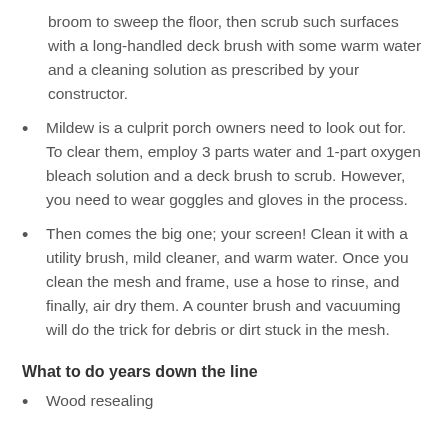broom to sweep the floor, then scrub such surfaces with a long-handled deck brush with some warm water and a cleaning solution as prescribed by your constructor.
Mildew is a culprit porch owners need to look out for. To clear them, employ 3 parts water and 1-part oxygen bleach solution and a deck brush to scrub. However, you need to wear goggles and gloves in the process.
Then comes the big one; your screen! Clean it with a utility brush, mild cleaner, and warm water. Once you clean the mesh and frame, use a hose to rinse, and finally, air dry them. A counter brush and vacuuming will do the trick for debris or dirt stuck in the mesh.
What to do years down the line
Wood resealing